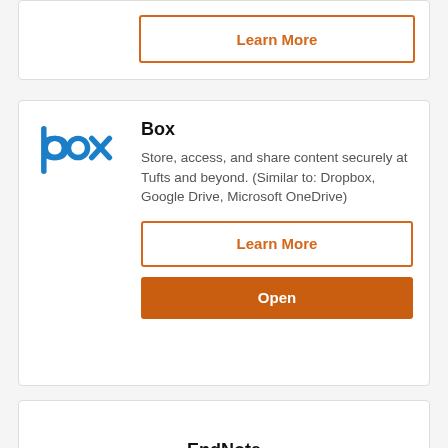[Figure (other): Partial card showing a Learn More button with orange border]
[Figure (logo): Box logo in blue]
Box
Store, access, and share content securely at Tufts and beyond. (Similar to: Dropbox, Google Drive, Microsoft OneDrive)
Learn More
Open
EndNote